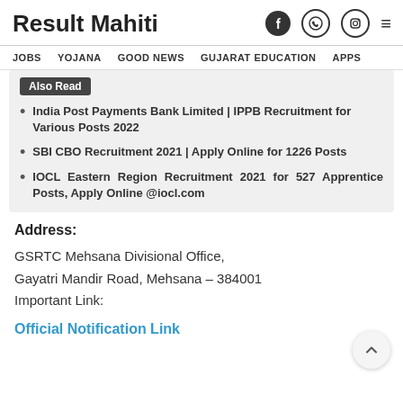Result Mahiti
JOBS  YOJANA  GOOD NEWS  GUJARAT EDUCATION  APPS
India Post Payments Bank Limited | IPPB Recruitment for Various Posts 2022
SBI CBO Recruitment 2021 | Apply Online for 1226 Posts
IOCL Eastern Region Recruitment 2021 for 527 Apprentice Posts, Apply Online @iocl.com
Address:
GSRTC Mehsana Divisional Office,
Gayatri Mandir Road, Mehsana – 384001
Important Link:
Official Notification Link